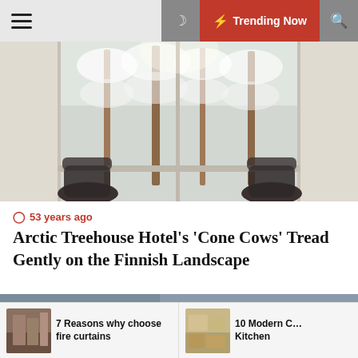≡  🌙  ⚡ Trending Now  🔍
[Figure (photo): Interior view looking through large windows at a snow-covered Finnish forest, with two chairs silhouetted in the foreground]
⊙ 53 years ago
Arctic Treehouse Hotel's 'Cone Cows' Tread Gently on the Finnish Landscape
[Figure (photo): Interior of a modern room with blue-grey walls and globe pendant lights, partially visible]
7 Reasons why choose fire curtains
10 Modern C… Kitchen